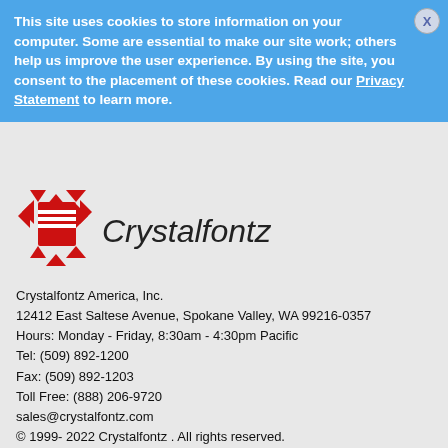This site uses cookies to store information on your computer. Some are essential to make our site work; others help us improve the user experience. By using the site, you consent to the placement of these cookies. Read our Privacy Statement to learn more.
[Figure (logo): Crystalfontz logo — red stylized CC shield icon with horizontal lines, next to italic text 'Crystalfontz']
Crystalfontz America, Inc.
12412 East Saltese Avenue, Spokane Valley, WA 99216-0357
Hours: Monday - Friday, 8:30am - 4:30pm Pacific
Tel: (509) 892-1200
Fax: (509) 892-1203
Toll Free: (888) 206-9720
sales@crystalfontz.com
© 1999- 2022 Crystalfontz . All rights reserved.
Product Menu
Sign In | Cart
Home |  Products  |  Tech Support  |  News  |  About  |  Contact  |